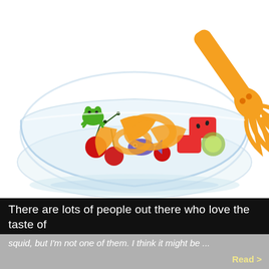[Figure (photo): A glass bowl filled with colorful fruit salad including cherries, watermelon chunks, orange slices, and kiwi. A novelty orange squid-shaped kitchen utensil is placed in the bowl, with a small purple fish and green crab food pick visible among the fruit. The background is white.]
There are lots of people out there who love the taste of
squid, but I'm not one of them. I think it might be ...
Read >